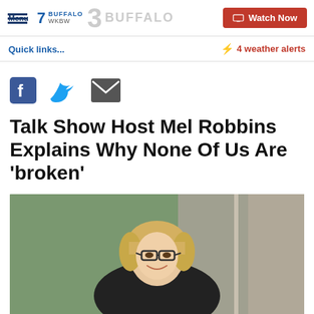Menu | 7 Buffalo WKBW | 7 BUFFALO | Watch Now
Quick links...
4 weather alerts
[Figure (other): Social sharing icons: Facebook, Twitter, Email]
Talk Show Host Mel Robbins Explains Why None Of Us Are ‘broken’
[Figure (photo): Photo of Mel Robbins, a blonde woman wearing glasses and a dark top, smiling, seated in front of a blurred green background]